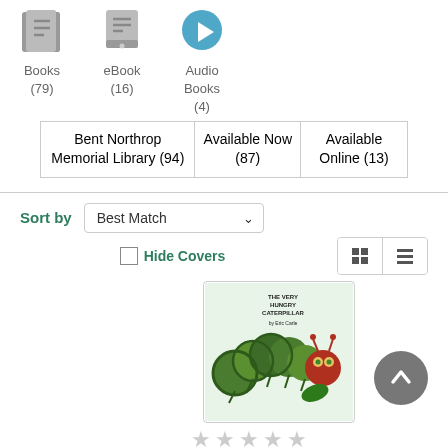[Figure (infographic): Three icons: Books (79), eBook (16), Audio Books (4) with gray icons]
| Bent Northrop Memorial Library (94) | Available Now (87) | Available Online (13) |
| --- | --- | --- |
Sort by  Best Match
Hide Covers
[Figure (photo): Book cover: The Very Hungry Caterpillar by Eric Carle showing illustrated green caterpillar]
☆☆☆☆☆
1)  The very hungry caterpillar
Author